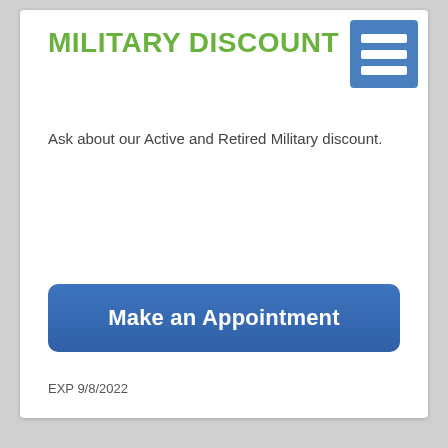MILITARY DISCOUNT
[Figure (illustration): Hamburger menu icon: three horizontal white lines on a blue square background, top-right corner]
Ask about our Active and Retired Military discount.
Make an Appointment
EXP 9/8/2022